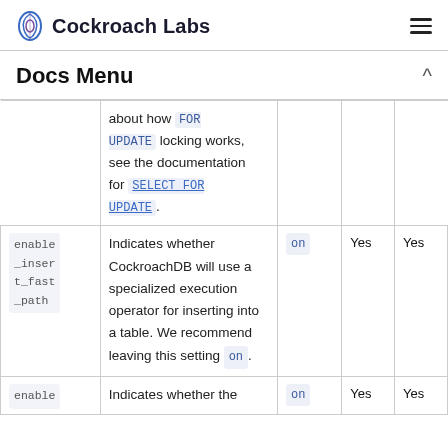Cockroach Labs
Docs Menu
|  | Description | Default | Session? | Cluster? |
| --- | --- | --- | --- | --- |
|  | about how FOR UPDATE locking works, see the documentation for SELECT FOR UPDATE. |  |  |  |
| enable_insert_fast_path | Indicates whether CockroachDB will use a specialized execution operator for inserting into a table. We recommend leaving this setting on. | on | Yes | Yes |
| enable | Indicates whether the | on | Yes | Yes |